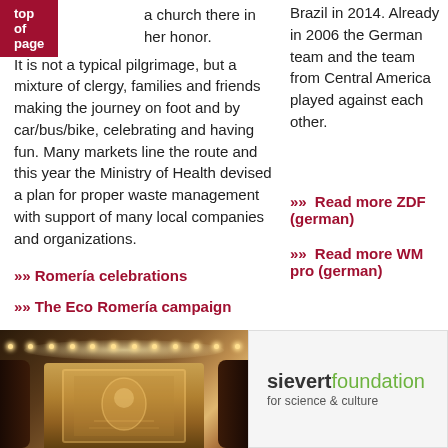top of page
a church there in her honor.
It is not a typical pilgrimage, but a mixture of clergy, families and friends making the journey on foot and by car/bus/bike, celebrating and having fun. Many markets line the route and this year the Ministry of Health devised a plan for proper waste management with support of many local companies and organizations.
Romería celebrations
The Eco Romería campaign
Brazil in 2014. Already in 2006 the German team and the team from Central America played against each other.
Read more ZDF (german)
Read more WM pro (german)
[Figure (photo): Interior of a church with ornate mosaic artwork, warm lighting with decorative lights along the ceiling, and dark curtains on the sides.]
[Figure (logo): Sievert Foundation logo with text 'sievertfoundation for science & culture']